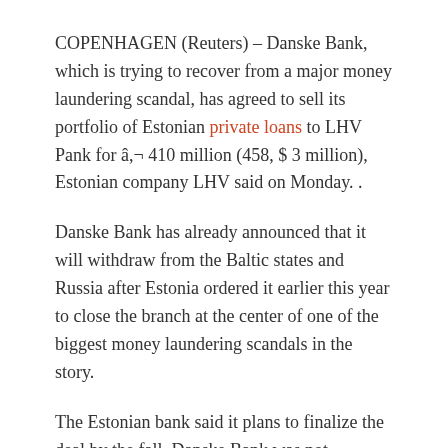COPENHAGEN (Reuters) – Danske Bank, which is trying to recover from a major money laundering scandal, has agreed to sell its portfolio of Estonian private loans to LHV Pank for â,¬ 410 million (458, $ 3 million), Estonian company LHV said on Monday. .
Danske Bank has already announced that it will withdraw from the Baltic states and Russia after Estonia ordered it earlier this year to close the branch at the center of one of the biggest money laundering scandals in the story.
The Estonian bank said it plans to finalize the deal by the fall. Danske Bank was not immediately available for comment.
The loan portfolio, 97% of which is home loans, stands at around 450 million euros at the time of the transaction, LHV said, adding that it will take over from the 10,800 private clients.
LHV said it would need to raise additional capital to finance the